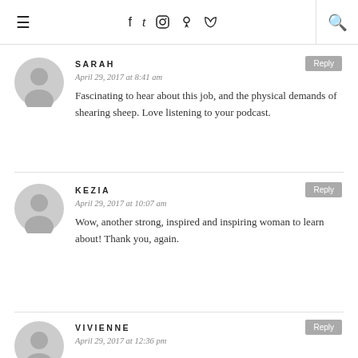Navigation bar with hamburger menu, social icons (facebook, twitter, instagram, pinterest, rss), and search
SARAH
April 29, 2017 at 8:41 am
Fascinating to hear about this job, and the physical demands of shearing sheep. Love listening to your podcast.
KEZIA
April 29, 2017 at 10:07 am
Wow, another strong, inspired and inspiring woman to learn about! Thank you, again.
VIVIENNE
April 29, 2017 at 12:36 pm